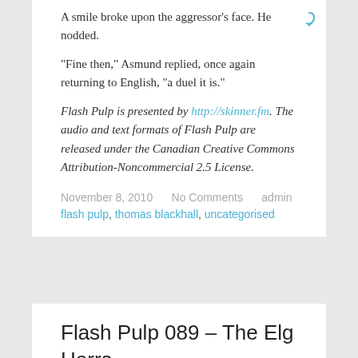A smile broke upon the aggressor’s face. He nodded.
“Fine then,” Asmund replied, once again returning to English, “a duel it is.”
Flash Pulp is presented by http://skinner.fm. The audio and text formats of Flash Pulp are released under the Canadian Creative Commons Attribution-Noncommercial 2.5 License.
November 8, 2010    No Comments    admin
flash pulp , thomas blackhall , uncategorised
Flash Pulp 089 – The Elg Herra, Part 3 of 6